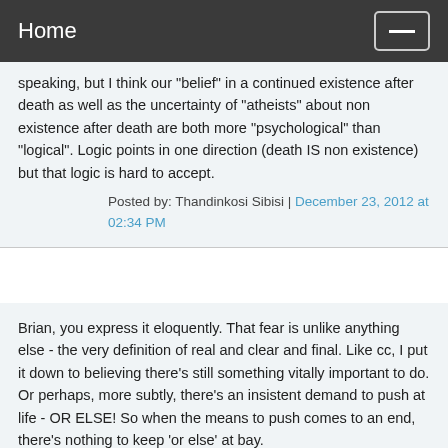Home
speaking, but I think our "belief" in a continued existence after death as well as the uncertainty of "atheists" about non existence after death are both more "psychological" than "logical". Logic points in one direction (death IS non existence) but that logic is hard to accept.
Posted by: Thandinkosi Sibisi | December 23, 2012 at 02:34 PM
Brian, you express it eloquently. That fear is unlike anything else - the very definition of real and clear and final. Like cc, I put it down to believing there's still something vitally important to do. Or perhaps, more subtly, there's an insistent demand to push at life - OR ELSE! So when the means to push comes to an end, there's nothing to keep 'or else' at bay.
I don't know if others are like me, but in my case that 'or else' was compulsive and pretty terrifying. After decades of enslavement I finally managed to call its bluff. I